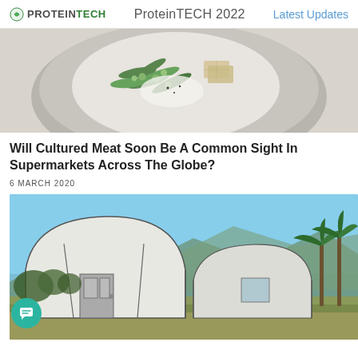ProteinTECH 2022   Latest Updates
[Figure (photo): Top-down view of a plate with green vegetables, snap peas, and crackers on a light background]
Will Cultured Meat Soon Be A Common Sight In Supermarkets Across The Globe?
6 MARCH 2020
[Figure (photo): Outdoor photo of white greenhouse/hoop structures with palm trees and mountains in background under blue sky]